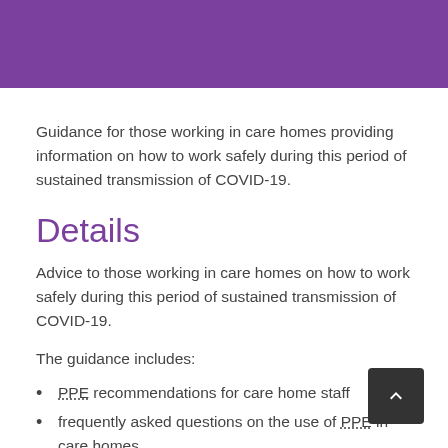Guidance for those working in care homes providing information on how to work safely during this period of sustained transmission of COVID-19.
Details
Advice to those working in care homes on how to work safely during this period of sustained transmission of COVID-19.
The guidance includes:
PPE recommendations for care home staff
frequently asked questions on the use of PPE in care homes
examples which help to identify the correct